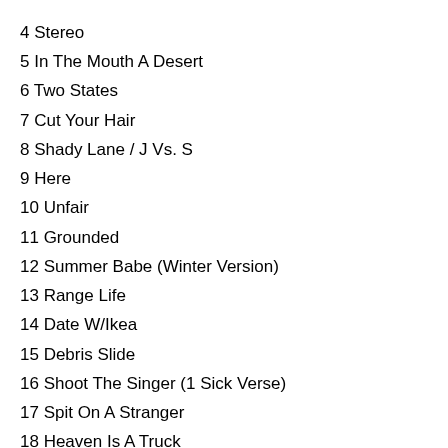4 Stereo
5 In The Mouth A Desert
6 Two States
7 Cut Your Hair
8 Shady Lane / J Vs. S
9 Here
10 Unfair
11 Grounded
12 Summer Babe (Winter Version)
13 Range Life
14 Date W/Ikea
15 Debris Slide
16 Shoot The Singer (1 Sick Verse)
17 Spit On A Stranger
18 Heaven Is A Truck
19 Trigger Cut / Wounded-Kite At :17
20 Embassy Row
21 Box Elder
22 Unseen Power Of The Picket Fence